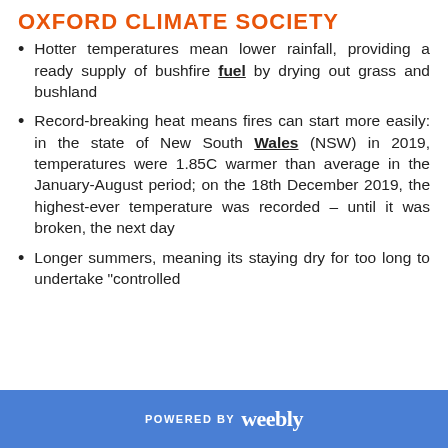OXFORD CLIMATE SOCIETY
Hotter temperatures mean lower rainfall, providing a ready supply of bushfire fuel by drying out grass and bushland
Record-breaking heat means fires can start more easily: in the state of New South Wales (NSW) in 2019, temperatures were 1.85C warmer than average in the January-August period; on the 18th December 2019, the highest-ever temperature was recorded – until it was broken, the next day
Longer summers, meaning its staying dry for too long to undertake "controlled
POWERED BY weebly